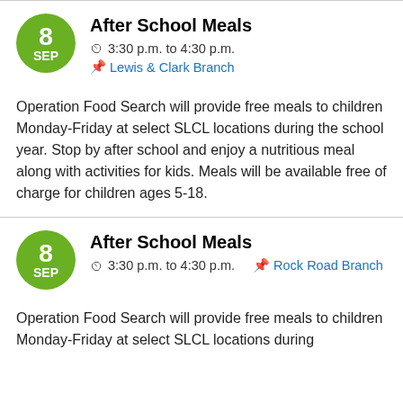After School Meals
3:30 p.m. to 4:30 p.m.
Lewis & Clark Branch
Operation Food Search will provide free meals to children Monday-Friday at select SLCL locations during the school year. Stop by after school and enjoy a nutritious meal along with activities for kids. Meals will be available free of charge for children ages 5-18.
After School Meals
3:30 p.m. to 4:30 p.m.
Rock Road Branch
Operation Food Search will provide free meals to children Monday-Friday at select SLCL locations during